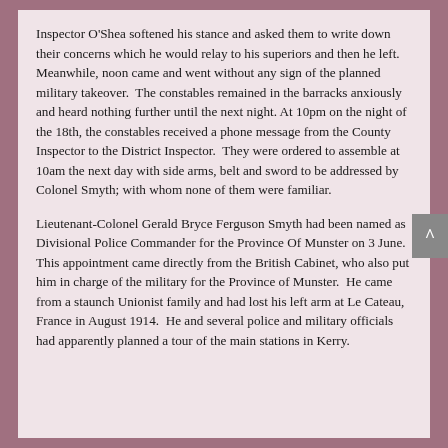Inspector O'Shea softened his stance and asked them to write down their concerns which he would relay to his superiors and then he left.  Meanwhile, noon came and went without any sign of the planned military takeover.  The constables remained in the barracks anxiously and heard nothing further until the next night. At 10pm on the night of the 18th, the constables received a phone message from the County Inspector to the District Inspector.  They were ordered to assemble at 10am the next day with side arms, belt and sword to be addressed by Colonel Smyth; with whom none of them were familiar.
Lieutenant-Colonel Gerald Bryce Ferguson Smyth had been named as Divisional Police Commander for the Province Of Munster on 3 June.  This appointment came directly from the British Cabinet, who also put him in charge of the military for the Province of Munster.  He came from a staunch Unionist family and had lost his left arm at Le Cateau, France in August 1914.  He and several police and military officials had apparently planned a tour of the main stations in Kerry.